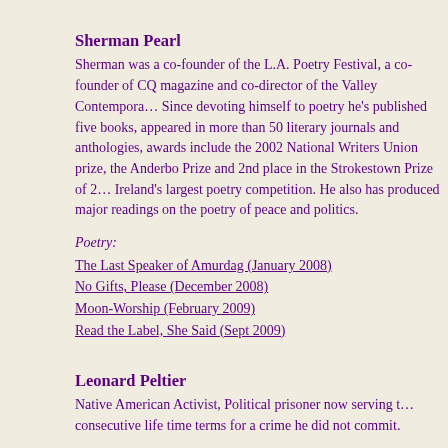Sherman Pearl
Sherman was a co-founder of the L.A. Poetry Festival, a co-founder of CQ magazine and co-director of the Valley Contemporary... Since devoting himself to poetry he's published five books, appeared in more than 50 literary journals and anthologies, awards include the 2002 National Writers Union prize, the Anderbo Prize and 2nd place in the Strokestown Prize of Ireland's largest poetry competition. He also has produced major readings on the poetry of peace and politics.
Poetry:
The Last Speaker of Amurdag (January 2008)
No Gifts, Please (December 2008)
Moon-Worship (February 2009)
Read the Label, She Said (Sept 2009)
Leonard Peltier
Native American Activist, Political prisoner now serving two consecutive life time terms for a crime he did not commit.
Poetry:
An Eagle's Cry (Sept 2004)